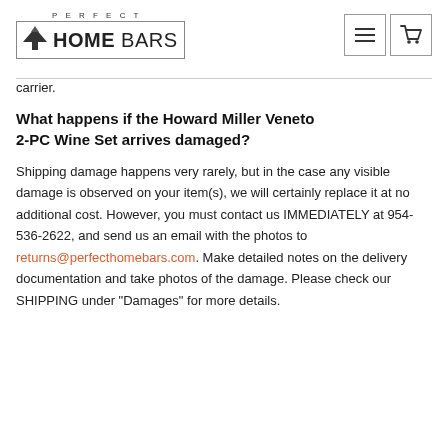Perfect Home Bars
carrier.
What happens if the Howard Miller Veneto 2-PC Wine Set arrives damaged?
Shipping damage happens very rarely, but in the case any visible damage is observed on your item(s), we will certainly replace it at no additional cost. However, you must contact us IMMEDIATELY at 954-536-2622, and send us an email with the photos to returns@perfecthomebars.com. Make detailed notes on the delivery documentation and take photos of the damage. Please check our SHIPPING under "Damages" for more details.